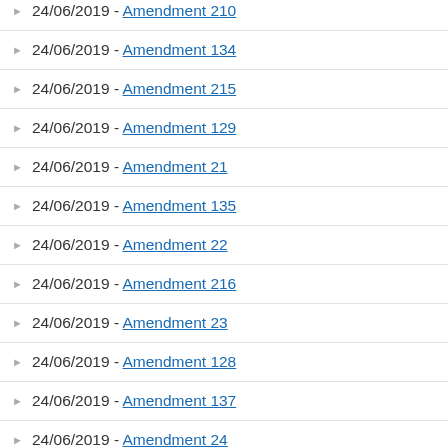24/06/2019 - Amendment 210
24/06/2019 - Amendment 134
24/06/2019 - Amendment 215
24/06/2019 - Amendment 129
24/06/2019 - Amendment 21
24/06/2019 - Amendment 135
24/06/2019 - Amendment 22
24/06/2019 - Amendment 216
24/06/2019 - Amendment 23
24/06/2019 - Amendment 128
24/06/2019 - Amendment 137
24/06/2019 - Amendment 24
24/06/2019 - Amendment 25
24/06/2019 - Amendment 128 (partial)